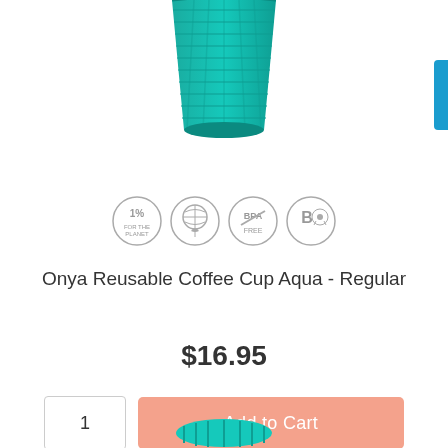[Figure (photo): Teal/aqua ribbed reusable coffee cup, top portion visible, cropped at bottom]
[Figure (infographic): Four circular badge icons: 1% (for the planet), globe/leaf icon, BPA free icon, B Corp certified icon]
Onya Reusable Coffee Cup Aqua - Regular
$16.95
[Figure (screenshot): Quantity input box showing '1' and salmon/peach colored 'Add to Cart' button]
[Figure (photo): Bottom portion of another teal reusable cup, partially visible at page bottom]